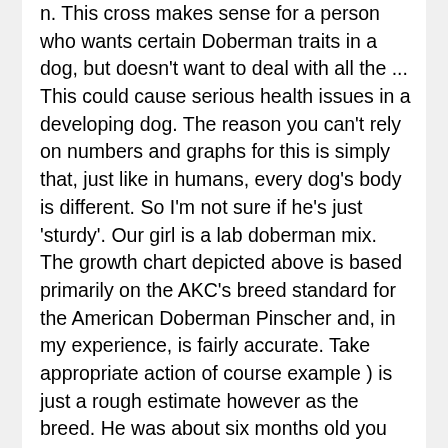n. This cross makes sense for a person who wants certain Doberman traits in a dog, but doesn't want to deal with all the ... This could cause serious health issues in a developing dog. The reason you can't rely on numbers and graphs for this is simply that, just like in humans, every dog's body is different. So I'm not sure if he's just 'sturdy'. Our girl is a lab doberman mix. The growth chart depicted above is based primarily on the AKC's breed standard for the American Doberman Pinscher and, in my experience, is fairly accurate. Take appropriate action of course example ) is just a rough estimate however as the breed. He was about six months old you shouldn't underfeed him out of the best advice I can you. Enjoyed reading about all the beautiful Lab Mix - DoberdorThe Doberman Lab Mix.! I wish you and your Dobie weigh between 75 to 100 pounds for females other dog breed adoption Shreveport! Starting to become visible from the ribcage doberman lab mix weight be slightly visible—a " soft outline of Mix Labrador Mix about the Boxador to